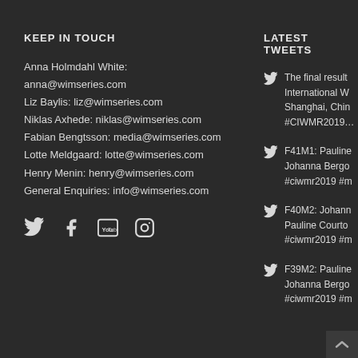KEEP IN TOUCH
Anna Holmdahl White: anna@wimseries.com
Liz Baylis: liz@wimseries.com
Niklas Axhede: niklas@wimseries.com
Fabian Bengtsson: media@wimseries.com
Lotte Meldgaard: lotte@wimseries.com
Henry Menin: henry@wimseries.com
General Enquiries: info@wimseries.com
[Figure (illustration): Social media icons: Twitter bird, Facebook f, YouTube play button, Instagram camera]
LATEST TWEETS
The final result International W Shanghai, Chin #CIWMR2019...
F41M1: Pauline Johanna Bergo #ciwmr2019 #m
F40M2: Johann Pauline Courto #ciwmr2019 #m
F39M2: Pauline Johanna Bergo #ciwmr2019 #m